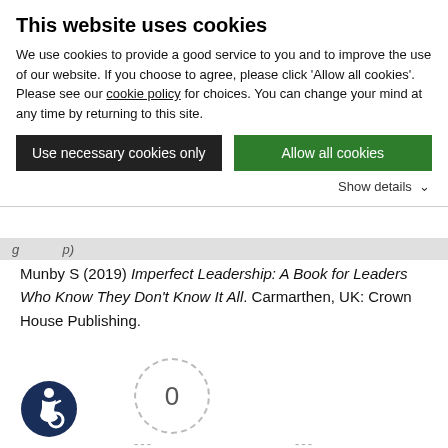This website uses cookies
We use cookies to provide a good service to you and to improve the use of our website. If you choose to agree, please click 'Allow all cookies'. Please see our cookie policy for choices. You can change your mind at any time by returning to this site.
Use necessary cookies only | Allow all cookies
Show details
Munby S (2019) Imperfect Leadership: A Book for Leaders Who Know They Don't Know It All. Carmarthen, UK: Crown House Publishing.
[Figure (other): Article rating widget showing a circle with '0' in the center (dashed border), dashes on either side, 'Article Rating' label below, and five empty grey stars beneath.]
[Figure (other): Accessibility icon: circular dark navy badge with wheelchair accessibility symbol in white.]